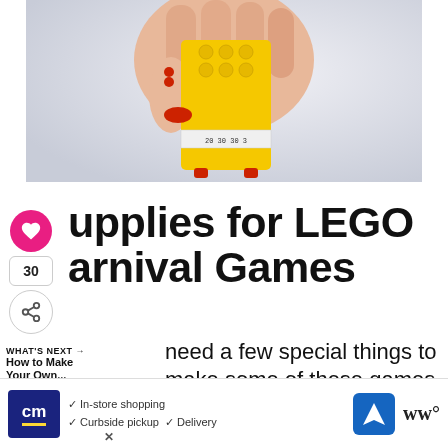[Figure (photo): A hand holding a yellow LEGO brick piece with red studs visible at the bottom, photographed against a light gray/white background.]
Supplies for LEGO Carnival Games
need a few special things to make some of these games, but the purchase will be well worth it because the carnival games are
[Figure (other): WHAT'S NEXT promotional widget with circular How to Make Your Own... thumbnail image]
[Figure (other): Advertisement banner: cm logo, In-store shopping, Curbside pickup, Delivery options with navigation icon and WW logo]